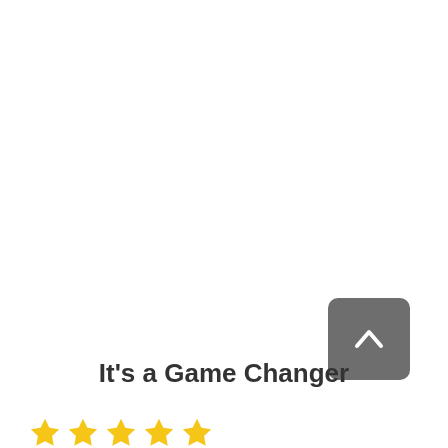[Figure (other): A rounded square button with dark gray background containing a white upward chevron arrow, used as a scroll-to-top navigation button]
It's a Game Changer
[Figure (other): Five gold/yellow star rating icons in a row]